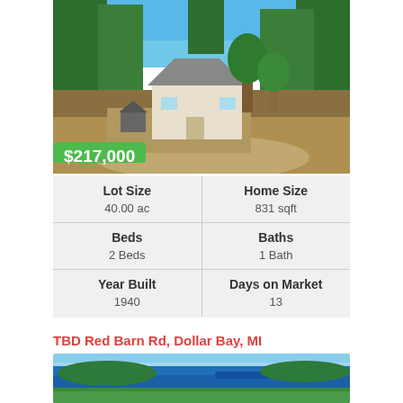[Figure (photo): Aerial photo of a small white house with grey roof surrounded by trees and gravel driveway]
$217,000
| Lot Size | Home Size |
| --- | --- |
| 40.00 ac | 831 sqft |
| Beds | Baths |
| 2 Beds | 1 Bath |
| Year Built | Days on Market |
| 1940 | 13 |
TBD Red Barn Rd, Dollar Bay, MI
[Figure (photo): Aerial photo of a blue lake surrounded by dense green forest]